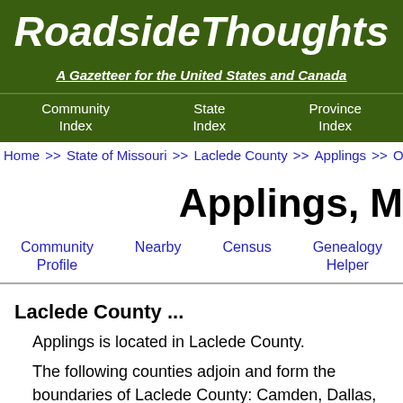RoadsideThoughts
A Gazetteer for the United States and Canada
Community Index   State Index   Province Index
Home >> State of Missouri >> Laclede County >> Applings >> Other
Applings, M
Community Profile   Nearby   Census   Genealogy Helper
Laclede County ...
Applings is located in Laclede County.
The following counties adjoin and form the boundaries of Laclede County: Camden, Dallas, Pulaski, Texas, Webster & Wright.